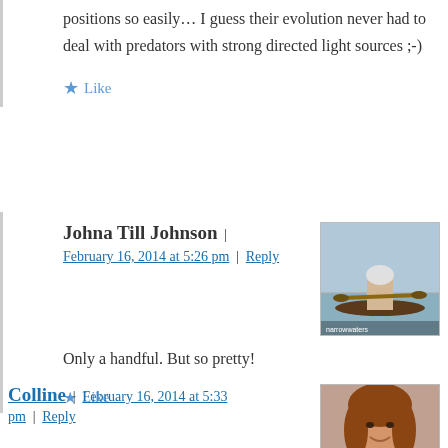positions so easily… I guess their evolution never had to deal with predators with strong directed light sources ;-)
★ Like
Johna Till Johnson | February 16, 2014 at 5:26 pm | Reply
[Figure (photo): Avatar photo of Johna Till Johnson showing a person in a kayak on water]
Only a handful. But so pretty!
★ Like
Colline | February 16, 2014 at 5:33 pm | Reply
[Figure (photo): Avatar photo of Colline showing a woman with brown hair smiling]
Stunning photo.